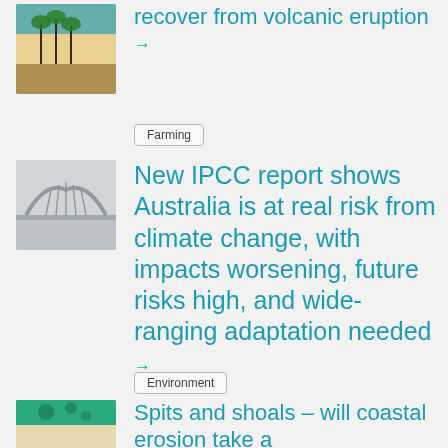[Figure (photo): Aerial or ground-level photo of a beach with palm trees, sandy shore, and blue ocean]
recover from volcanic eruption →
Farming
[Figure (photo): A foggy bridge (resembling Sydney Harbour Bridge) in misty/hazy conditions]
New IPCC report shows Australia is at real risk from climate change, with impacts worsening, future risks high, and wide-ranging adaptation needed →
Environment
[Figure (photo): Aerial view of coastal area with green water, shoals or spits, and sandy/light tones]
Spits and shoals – will coastal erosion take a